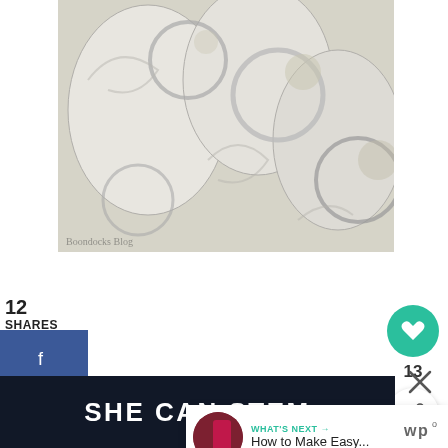[Figure (photo): Close-up photo of silver/chrome circular rings or bracelets on a white textured surface, watermark 'Boondocks Blog' at bottom left]
12
SHARES
[Figure (infographic): Social share sidebar with Facebook (blue), Twitter (light blue), Pinterest (red), Email (green) buttons]
[Figure (infographic): Right sidebar with heart/like button (teal circle) showing count 13, and share button]
WHAT'S NEXT → How to Make Easy...
[Figure (infographic): Bottom dark banner with text SHE CAN STEM]
[Figure (logo): Close X button and wp superscript logo at bottom right]